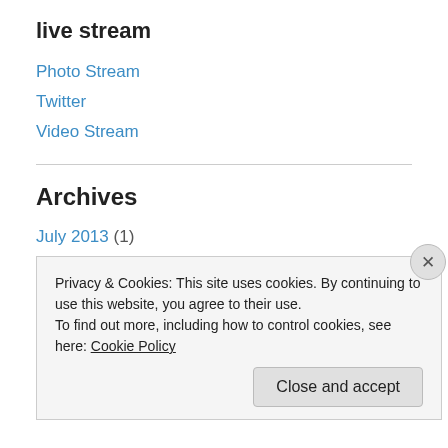live stream
Photo Stream
Twitter
Video Stream
Archives
July 2013 (1)
January 2013 (1)
December 2012 (1)
September 2012 (1)
August 2012 (3)
Privacy & Cookies: This site uses cookies. By continuing to use this website, you agree to their use.
To find out more, including how to control cookies, see here: Cookie Policy
Close and accept